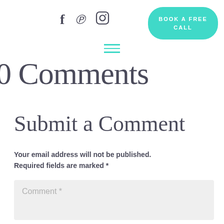f p Instagram  BOOK A FREE CALL
0 Comments
Submit a Comment
Your email address will not be published. Required fields are marked *
Comment *